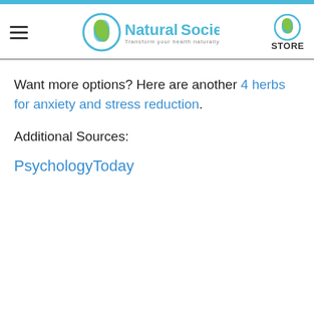Natural Society — Transform your health naturally | STORE
Want more options? Here are another 4 herbs for anxiety and stress reduction.
Additional Sources:
PsychologyToday